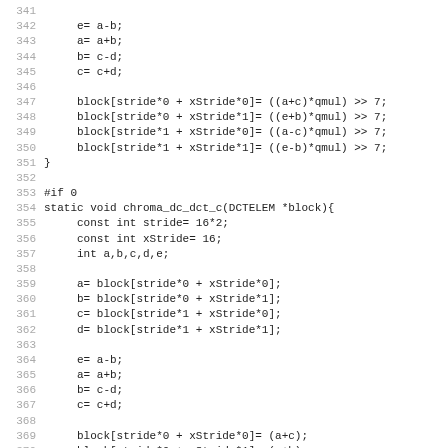Code listing lines 341-372, C source code for chroma DC DCT functions